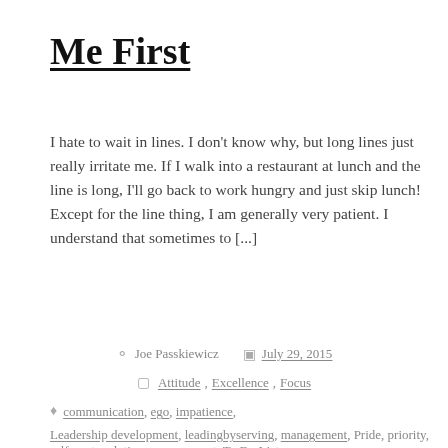Me First
I hate to wait in lines. I don't know why, but long lines just really irritate me. If I walk into a restaurant at lunch and the line is long, I'll go back to work hungry and just skip lunch! Except for the line thing, I am generally very patient. I understand that sometimes to [...]
Joe Passkiewicz   July 29, 2015
Attitude, Excellence, Focus
communication, ego, impatience, Leadership development, leadingbyserving, management, Pride, priority, self-centered, time management, To Do List